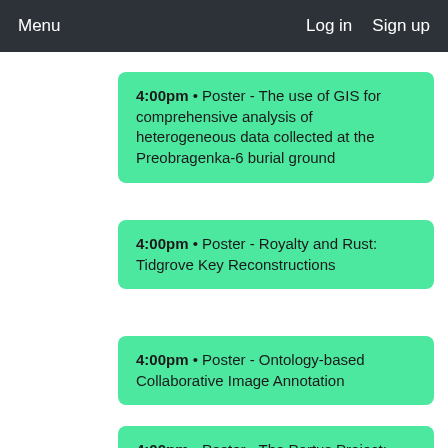Menu    Log in  Sign up
4:00pm • Poster - The use of GIS for comprehensive analysis of heterogeneous data collected at the Preobragenka-6 burial ground
4:00pm • Poster - Royalty and Rust: Tidgrove Key Reconstructions
4:00pm • Poster - Ontology-based Collaborative Image Annotation
4:00pm • Poster - The Portus Project: Simulating the Ship-sheds